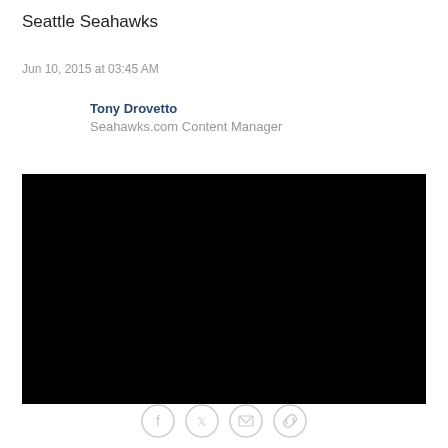Seattle Seahawks
Jun 10, 2015 at 03:45 AM
Tony Drovetto
Seahawks.com Content Manager
[Figure (photo): Black video/image embed area]
Social share icons: Facebook, Twitter, Email, Link